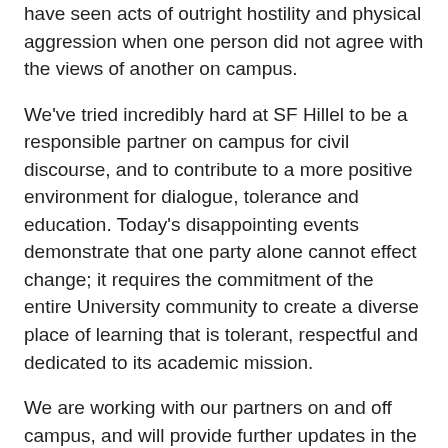have seen acts of outright hostility and physical aggression when one person did not agree with the views of another on campus.
We've tried incredibly hard at SF Hillel to be a responsible partner on campus for civil discourse, and to contribute to a more positive environment for dialogue, tolerance and education. Today's disappointing events demonstrate that one party alone cannot effect change; it requires the commitment of the entire University community to create a diverse place of learning that is tolerant, respectful and dedicated to its academic mission.
We are working with our partners on and off campus, and will provide further updates in the coming days and weeks. We will ensure that campus continues to be a space that promotes the robust exchange of ideas.
We are once again proud of our Hillel students who were not intimidated by today's interruptions. Even though the Mayor could not continue his public remarks, many Hillel students stayed to learn from Mayor Barkat in a smaller group, and to